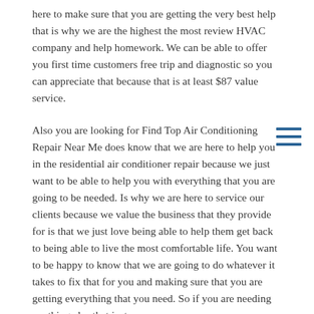here to make sure that you are getting the very best help that is why we are the highest the most review HVAC company and help homework. We can be able to offer you first time customers free trip and diagnostic so you can appreciate that because that is at least $87 value service.
Also you are looking for Find Top Air Conditioning Repair Near Me does know that we are here to help you in the residential air conditioner repair because we just want to be able to help you with everything that you are going to be needed. Is why we are here to service our clients because we value the business that they provide for is that we just love being able to help them get back to being able to live the most comfortable life. You want to be happy to know that we are going to do whatever it takes to fix that for you and making sure that you are getting everything that you need. So if you are needing anything else that just